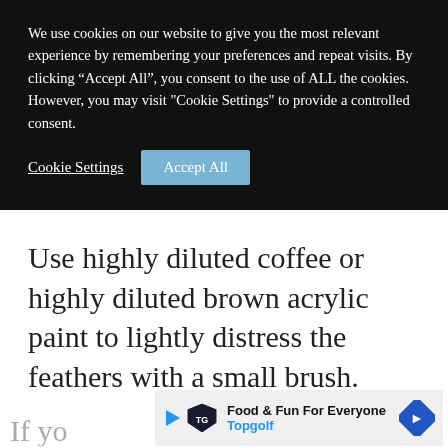We use cookies on our website to give you the most relevant experience by remembering your preferences and repeat visits. By clicking “Accept All”, you consent to the use of ALL the cookies. However, you may visit "Cookie Settings" to provide a controlled consent.
Cookie Settings | Accept All
Use highly diluted coffee or highly diluted brown acrylic paint to lightly distress the feathers with a small brush.
[Figure (infographic): Advertisement banner for Topgolf with play button icon, Topgolf shield logo, text Food & Fun For Everyone / Topgolf, and a blue diamond-shaped navigation arrow icon.]
If yo